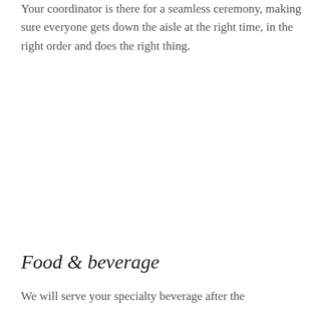Your coordinator is there for a seamless ceremony, making sure everyone gets down the aisle at the right time, in the right order and does the right thing.
Food & beverage
We will serve your specialty beverage after the